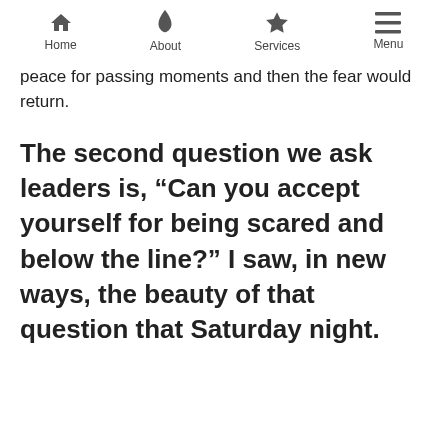Home | About | Services | Menu
peace for passing moments and then the fear would return.
The second question we ask leaders is, “Can you accept yourself for being scared and below the line?” I saw, in new ways, the beauty of that question that Saturday night.